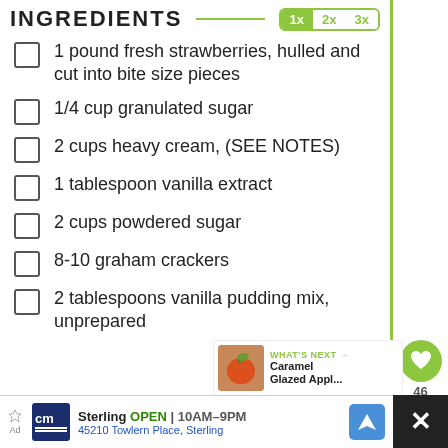INGREDIENTS
1 pound fresh strawberries, hulled and cut into bite size pieces
1/4 cup granulated sugar
2 cups heavy cream, (SEE NOTES)
1 tablespoon vanilla extract
2 cups powdered sugar
8-10 graham crackers
2 tablespoons vanilla pudding mix, unprepared
WHAT'S NEXT → Caramel Glazed Appl...
Sterling OPEN | 10AM–9PM 45210 Towlern Place, Sterling